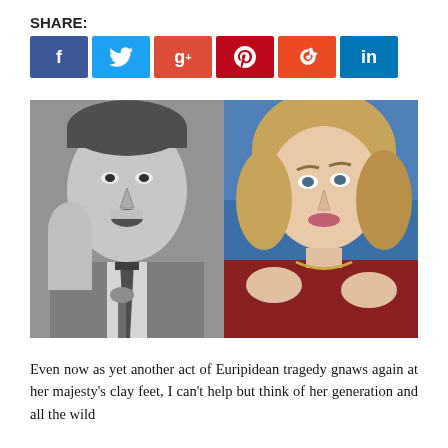SHARE:
[Figure (infographic): Social media share buttons: Facebook (blue), Twitter (light blue), Google+ (red), Pinterest (dark red), StumbleUpon (orange-red), LinkedIn (blue)]
[Figure (photo): Side-by-side photo composite: left side is a black-and-white photo of Richard Nixon gesturing with his hand, right side is a color photo of Hillary Clinton gesturing with both hands against a blue background]
Even now as yet another act of Euripidean tragedy gnaws again at her majesty's clay feet, I can't help but think of her generation and all the wild possibilities that their talent will eventually come from a place...